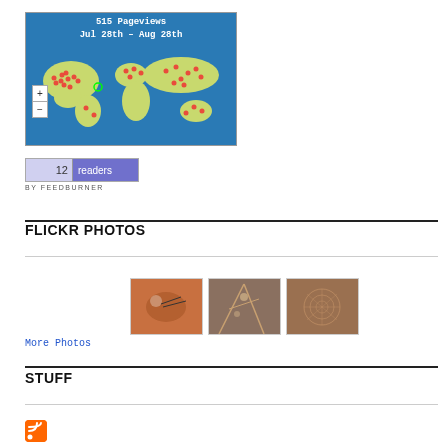[Figure (map): World map widget showing 515 pageviews from Jul 28th to Aug 28th, with red dots marking visitor locations across the globe on a blue background.]
[Figure (screenshot): FeedBurner widget showing 12 readers with a blue/purple two-tone box and 'BY FEEDBURNER' text below.]
FLICKR PHOTOS
[Figure (photo): Three Flickr photo thumbnails showing macro nature photography - insect/plant close-ups with orange/brown tones.]
More Photos
STUFF
[Figure (logo): Orange RSS feed icon, partially visible at bottom of page.]